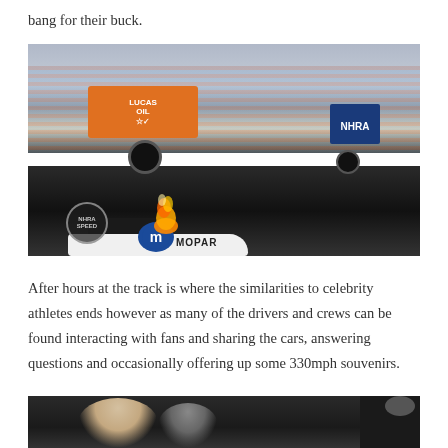bang for their buck.
[Figure (photo): NHRA Top Fuel dragster with Mopar livery launching off the starting line with fire/flames visible, large crowd in grandstands in the background, NHRA Speed logo watermark in lower left corner.]
After hours at the track is where the similarities to celebrity athletes ends however as many of the drivers and crews can be found interacting with fans and sharing the cars, answering questions and occasionally offering up some 330mph souvenirs.
[Figure (photo): Partial photo of crowd/people at bottom of page, dark background with people visible.]